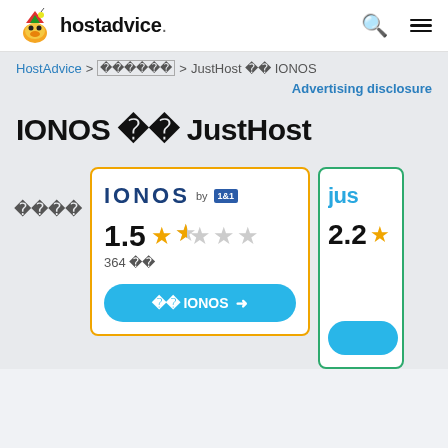hostadvice. [search icon] [menu icon]
HostAdvice > [????] > JustHost ?? IONOS
Advertising disclosure
IONOS ?? JustHost
????
[Figure (screenshot): IONOS by 1&1 hosting card with 1.5 star rating (364 reviews) and a blue CTA button saying '?? IONOS']
[Figure (screenshot): Partial JustHost card showing logo 'jus...' and rating 2.2 with partial star and blue CTA button]